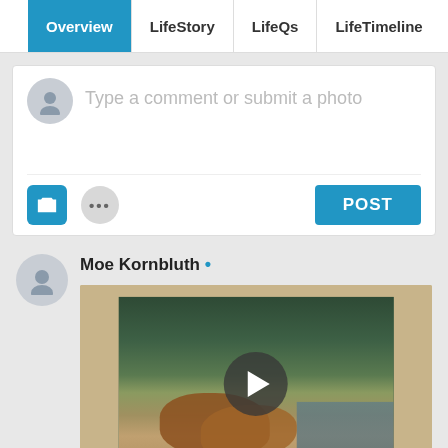Overview | LifeStory | LifeQs | LifeTimeline
Type a comment or submit a photo
POST
Moe Kornbluth •
[Figure (photo): Video thumbnail showing a painting of dogs near water, with a play button overlay]